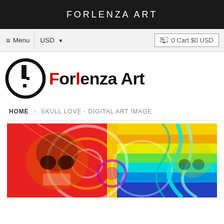FORLENZA ART
≡ Menu   |   USD ▼         🛒 0 Cart $0 USD
[Figure (logo): Forlenza Art logo: black circle with white and black exclamation mark, beside red and black text reading 'Forlenza Art']
HOME › SKULL LOVE - DIGITAL ART IMAGE
[Figure (photo): Colorful digital art image of a skull with swirling rainbow colors including red, yellow, green, cyan, blue and white against a vivid multicolored background]